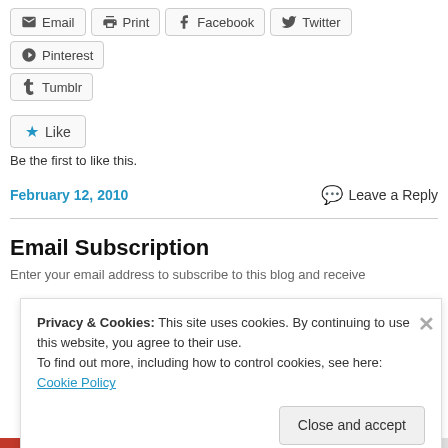[Figure (screenshot): Share buttons row: Email, Print, Facebook, Twitter, Pinterest]
[Figure (screenshot): Tumblr share button]
[Figure (screenshot): Like button with star icon]
Be the first to like this.
February 12, 2010
Leave a Reply
Email Subscription
Enter your email address to subscribe to this blog and receive
Privacy & Cookies: This site uses cookies. By continuing to use this website, you agree to their use.
To find out more, including how to control cookies, see here: Cookie Policy
Close and accept